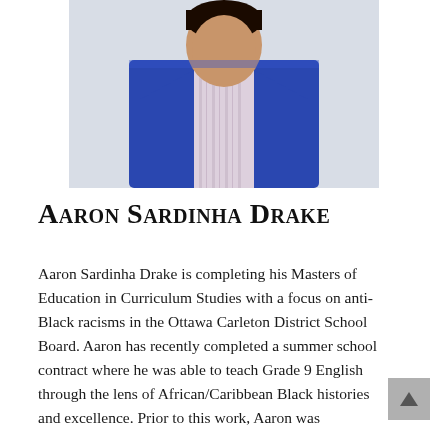[Figure (photo): Portrait photo of Aaron Sardinha Drake wearing a blue blazer and striped shirt]
Aaron Sardinha Drake
Aaron Sardinha Drake is completing his Masters of Education in Curriculum Studies with a focus on anti-Black racisms in the Ottawa Carleton District School Board. Aaron has recently completed a summer school contract where he was able to teach Grade 9 English through the lens of African/Caribbean Black histories and excellence. Prior to this work, Aaron was